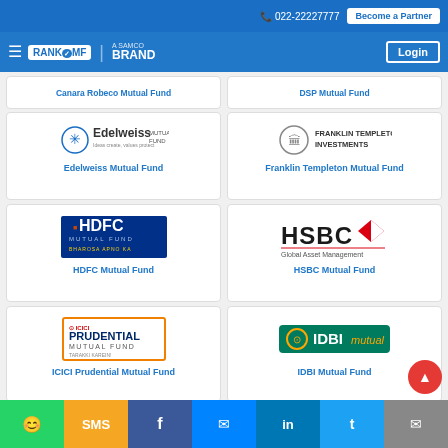022-22227777 | Become a Partner
[Figure (logo): RankMF - A Samco Brand logo with hamburger menu and Login button]
Canara Robeco Mutual Fund | DSP Mutual Fund
[Figure (logo): Edelweiss Mutual Fund logo]
Edelweiss Mutual Fund
[Figure (logo): Franklin Templeton Investments logo]
Franklin Templeton Mutual Fund
[Figure (logo): HDFC Mutual Fund logo - Bharosa Apno Ka]
HDFC Mutual Fund
[Figure (logo): HSBC Global Asset Management logo]
HSBC Mutual Fund
[Figure (logo): ICICI Prudential Mutual Fund logo]
ICICI Prudential Mutual Fund
[Figure (logo): IDBI Mutual Fund logo]
IDBI Mutual Fund
WhatsApp | SMS | Facebook | Messenger | LinkedIn | Twitter | Email